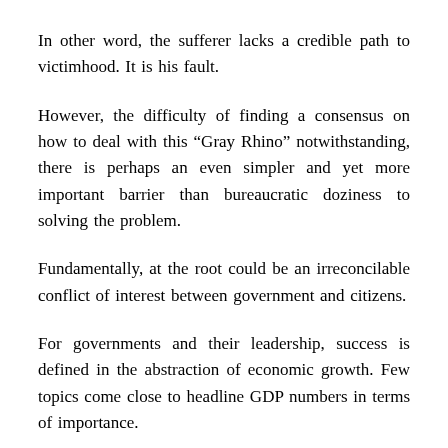In other word, the sufferer lacks a credible path to victimhood. It is his fault.
However, the difficulty of finding a consensus on how to deal with this “Gray Rhino” notwithstanding, there is perhaps an even simpler and yet more important barrier than bureaucratic doziness to solving the problem.
Fundamentally, at the root could be an irreconcilable conflict of interest between government and citizens.
For governments and their leadership, success is defined in the abstraction of economic growth. Few topics come close to headline GDP numbers in terms of importance.
Everything from the cost of borrowing to departmental spending depends on that number. It is the cornerstone of our modern economic model.